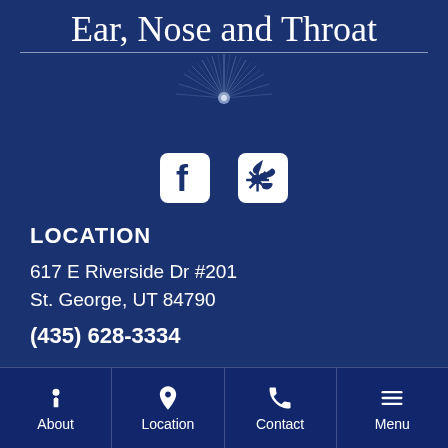Ear, Nose and Throat
[Figure (illustration): Starburst/sunburst decorative graphic in light blue/white on dark blue background]
[Figure (illustration): Facebook and Yelp social media icons in rounded square white icons]
LOCATION
617 E Riverside Dr #201
St. George, UT 84790
(435) 628-3334
HOURS
About  Location  Contact  Menu